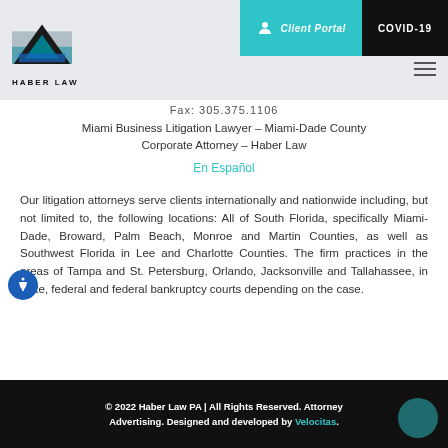[Figure (logo): Haber Law logo — geometric pyramid shape with teal/blue imagery and text HABER LAW below]
Client Portal  COVID-19
Fax: 305.375.1106
Miami Business Litigation Lawyer – Miami-Dade County Corporate Attorney – Haber Law
En Español
Our litigation attorneys serve clients internationally and nationwide including, but not limited to, the following locations: All of South Florida, specifically Miami-Dade, Broward, Palm Beach, Monroe and Martin Counties, as well as Southwest Florida in Lee and Charlotte Counties. The firm practices in the areas of Tampa and St. Petersburg, Orlando, Jacksonville and Tallahassee, in state, federal and federal bankruptcy courts depending on the case.
© 2022 Haber Law PA | All Rights Reserved. Attorney Advertising. Designed and developed by Velocitas.